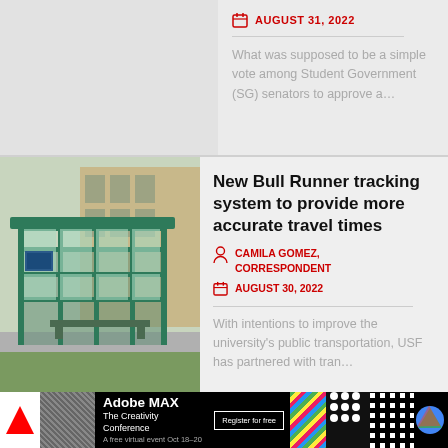AUGUST 31, 2022
What was supposed to be a simple vote among Student Government (SG) senators to approve a…
New Bull Runner tracking system to provide more accurate travel times
CAMILA GOMEZ, CORRESPONDENT
AUGUST 30, 2022
With intentions to improve the university's public transportation, USF has partnered with tran…
[Figure (photo): Green metal bus stop shelter with bench outside a university building]
[Figure (infographic): Adobe MAX - The Creativity Conference advertisement banner. Black background with colorful geometric patterns. Text: Adobe MAX, The Creativity Conference, A free virtual event Oct 18-20, Register for free.]